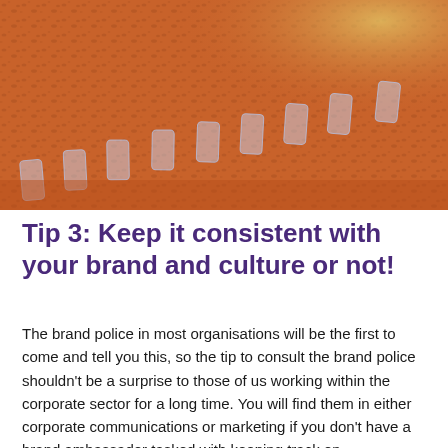[Figure (photo): A row of smiley face emoji clips (yellow round faces with various expressions — happy, sunglasses, winking) attached to a cork board surface. The clips are translucent plastic holders arranged diagonally from left to right. The background is a warm reddish-brown cork texture with a yellow-tinted area in the upper right.]
Tip 3: Keep it consistent with your brand and culture or not!
The brand police in most organisations will be the first to come and tell you this, so the tip to consult the brand police shouldn't be a surprise to those of us working within the corporate sector for a long time. You will find them in either corporate communications or marketing if you don't have a brand ambassador tasked with keeping track on